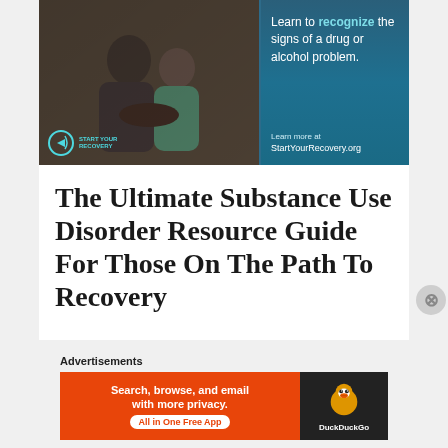[Figure (photo): Advertisement banner showing a couple sitting together (man and woman, emotional support pose) on the left half, and a teal/blue gradient background on the right half with text 'Learn to recognize the signs of a drug or alcohol problem.' and 'Learn more at StartYourRecovery.org' with the Start Your Recovery logo in the bottom-left corner.]
The Ultimate Substance Use Disorder Resource Guide For Those On The Path To Recovery
Advertisements
[Figure (photo): DuckDuckGo advertisement banner. Orange left section reads 'Search, browse, and email with more privacy. All in One Free App'. Dark right section shows DuckDuckGo duck logo and brand name.]